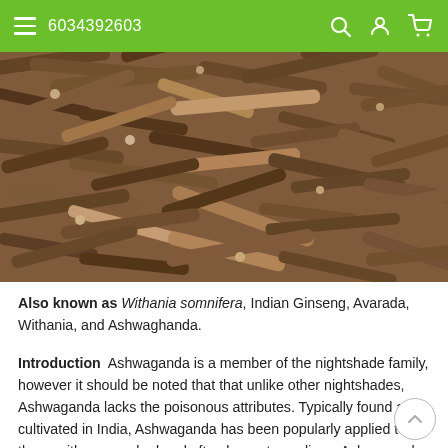6034392603
[Figure (photo): Close-up photograph of dried ashwagandha roots, brown and tan colored sticks piled together.]
Also known as Withania somnifera, Indian Ginseng, Avarada, Withania, and Ashwaghanda.
Introduction  Ashwaganda is a member of the nightshade family, however it should be noted that that unlike other nightshades, Ashwaganda lacks the poisonous attributes. Typically found and cultivated in India, Ashwaganda has been popularly applied to those with overworked and often hyper-tense lives. Ashwaganda is India's native